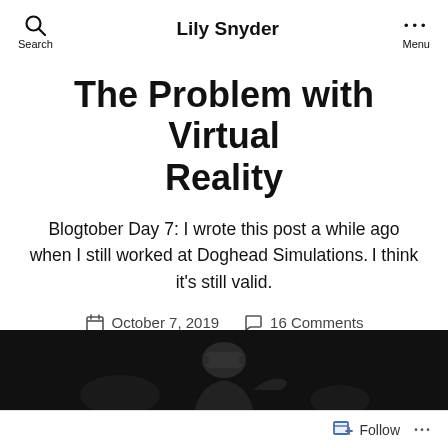Lily Snyder
The Problem with Virtual Reality
Blogtober Day 7: I wrote this post a while ago when I still worked at Doghead Simulations. I think it's still valid.
October 7, 2019   16 Comments
[Figure (photo): Dark photograph of a person wearing a VR headset, shown as a dark banner image at the bottom of the page.]
Follow